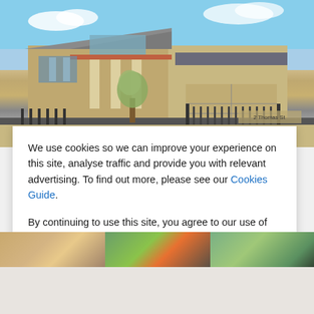[Figure (photo): Exterior photo of a two-storey beige/sandstone residential house with a black iron fence and gate, a tree in the foreground, and a sign reading '2 Thomas St'. Blue sky with clouds in the background.]
We use cookies so we can improve your experience on this site, analyse traffic and provide you with relevant advertising. To find out more, please see our Cookies Guide.
By continuing to use this site, you agree to our use of cookies.
[Figure (screenshot): A blue button labelled CLOSE]
[Figure (photo): Three small thumbnail images at the bottom of the page showing property photos]